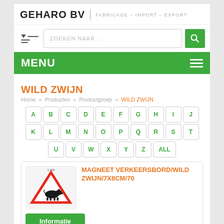GEHARO BV | FABRICAGE – IMPORT – EXPORT
ZOEKEN NAAR ...
MENU
WILD ZWIJN
Home » Producten » Productgroep » WILD ZWIJN
A B C D E F G H I J K L M N O P Q R S T U V W X Y Z ALL
[Figure (photo): Warning road sign with red triangle showing a wild boar silhouette]
MAGNEET VERKEERSBORD/WILD ZWIJN/7X8CM/70
Informatie